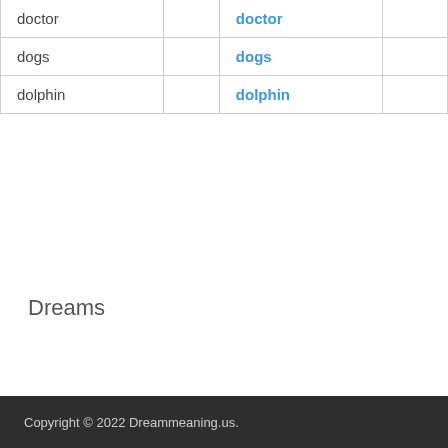| doctor |  | doctor |  |
| dogs |  | dogs |  |
| dolphin |  | dolphin |  |
Dreams
Copyright © 2022 Dreammeaning.us.